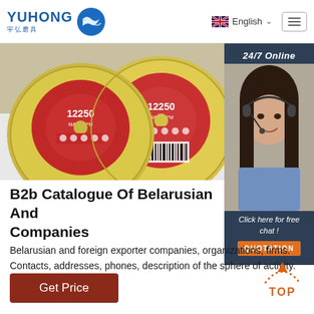YUHONG 宇弘磨具 | English
[Figure (photo): Photo of two yellow grinding/cutting discs with red labels showing '12250' RPM markings and safety symbols, on a white background]
[Figure (photo): 24/7 Online chat support: woman with headset smiling, with 'Click here for free chat!' text and orange QUOTATION button on dark blue panel]
B2b Catalogue Of Belarusian And … Companies
Belarusian and foreign exporter companies, organizations, firms. Contacts, addresses, phones, description of the sphere of activity.
Get Price
[Figure (other): Orange TOP arrow/button graphic pointing upward with dotted arc and text 'TOP']